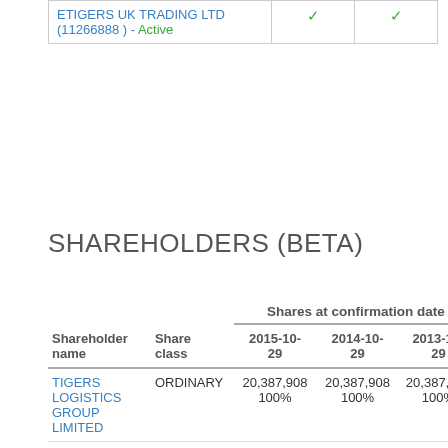| Company |  |  |
| --- | --- | --- |
| ETIGERS UK TRADING LTD (11266888) - Active | ✓ | ✓ |
SHAREHOLDERS (BETA)
| Shareholder name | Share class | 2015-10-29 | 2014-10-29 | 2013-10-29 |
| --- | --- | --- | --- | --- |
| TIGERS LOGISTICS GROUP LIMITED | ORDINARY | 20,387,908
100% | 20,387,908
100% | 20,387,908
100% |
| KANING… | ORDINARY | … | … | … |